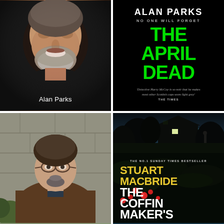[Figure (photo): Headshot of author Alan Parks, a smiling middle-aged man with grey stubble and beard, wearing a black top, against a dark background. Caption 'Alan Parks' in white text at bottom.]
[Figure (illustration): Book cover for 'The April Dead' by Alan Parks. Black background. Author name in white capitals at top, tagline 'NO ONE WILL FORGET' in grey, title 'THE APRIL DEAD' in large bright green capitals. Quote: 'Detective Harry McCoy is so noir that he makes most other Scottish cops seem light grey' THE TIMES.]
[Figure (photo): Portrait photo of author Stuart MacBride, a middle-aged man with glasses, goatee beard, wearing a brown jacket, against a stone wall background.]
[Figure (illustration): Book cover for 'The Coffin Maker's Garden' by Stuart MacBride. Dark atmospheric image of a house silhouette at night with a figure in the background. Top text: 'THE NO.1 SUNDAY TIMES BESTSELLER'. Author name 'STUART MACBRIDE' in yellow capitals. Title 'THE COFFIN MAKER'S GARDEN' in large white capitals. Red berries visible at the bottom.]